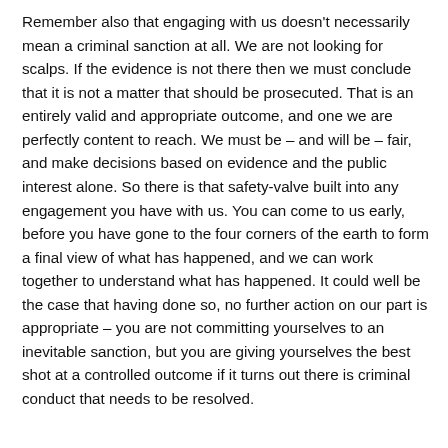Remember also that engaging with us doesn't necessarily mean a criminal sanction at all. We are not looking for scalps. If the evidence is not there then we must conclude that it is not a matter that should be prosecuted. That is an entirely valid and appropriate outcome, and one we are perfectly content to reach. We must be – and will be – fair, and make decisions based on evidence and the public interest alone. So there is that safety-valve built into any engagement you have with us. You can come to us early, before you have gone to the four corners of the earth to form a final view of what has happened, and we can work together to understand what has happened. It could well be the case that having done so, no further action on our part is appropriate – you are not committing yourselves to an inevitable sanction, but you are giving yourselves the best shot at a controlled outcome if it turns out there is criminal conduct that needs to be resolved.